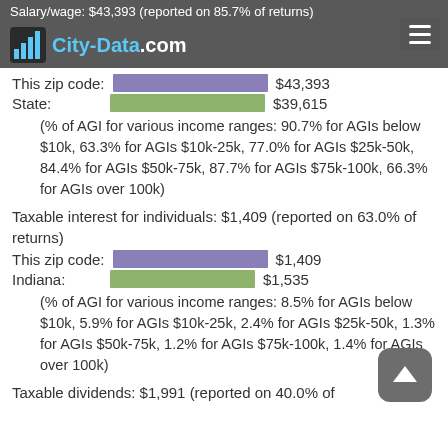Salary/wage: $43,393 (reported on 85.7% of returns)
This zip code: $43,393
State: $39,615
(% of AGI for various income ranges: 90.7% for AGIs below $10k, 63.3% for AGIs $10k-25k, 77.0% for AGIs $25k-50k, 84.4% for AGIs $50k-75k, 87.7% for AGIs $75k-100k, 66.3% for AGIs over 100k)
Taxable interest for individuals: $1,409 (reported on 63.0% of returns)
This zip code: $1,409
Indiana: $1,535
(% of AGI for various income ranges: 8.5% for AGIs below $10k, 5.9% for AGIs $10k-25k, 2.4% for AGIs $25k-50k, 1.3% for AGIs $50k-75k, 1.2% for AGIs $75k-100k, 1.4% for AGIs over 100k)
Taxable dividends: $1,991 (reported on 40.0% of